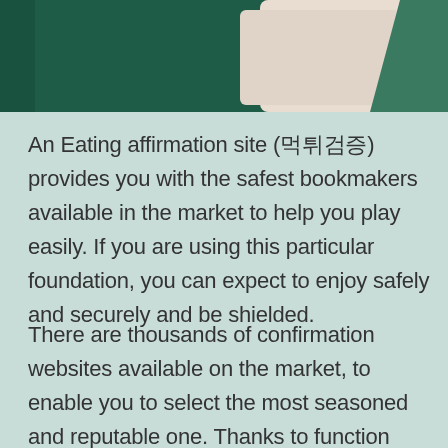[Figure (photo): A photo showing playing cards or similar objects on a dark green background, cropped at the top of the page.]
An Eating affirmation site (먹튀검증) provides you with the safest bookmakers available in the market to help you play easily. If you are using this particular foundation, you can expect to enjoy safely and securely and be shielded.
There are thousands of confirmation websites available on the market, to enable you to select the most seasoned and reputable one. Thanks to function completed by websites like these, you can rest assured that you may be